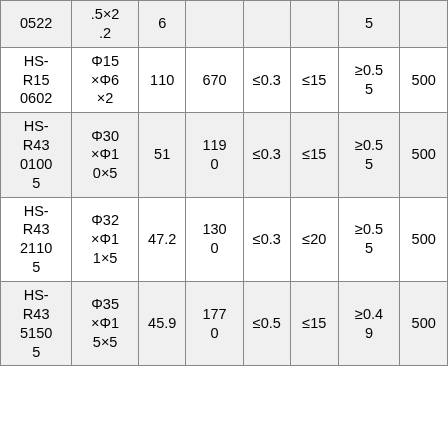| 0522 | .5×2
.2 | 6 |  |  |  | 5 |  |
| HS-R15
0602 | Φ15×Φ6×2 | 110 | 670 | ≤0.3 | ≤15 | ≥0.55 | 500 |
| HS-R43
01005 | Φ30×Φ10×5 | 51 | 1190 | ≤0.3 | ≤15 | ≥0.55 | 500 |
| HS-R43
21105 | Φ32×Φ11×5 | 47.2 | 1300 | ≤0.3 | ≤20 | ≥0.55 | 500 |
| HS-R43
51505 | Φ35×Φ15×5 | 45.9 | 1770 | ≤0.5 | ≤15 | ≥0.49 | 500 |